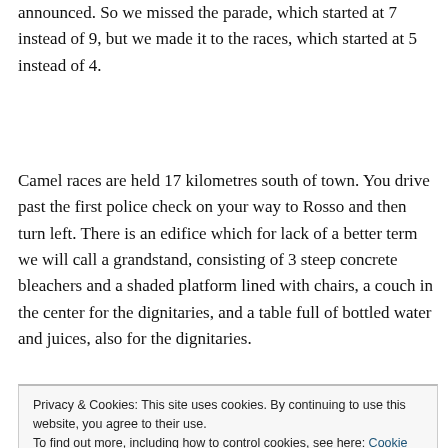announced. So we missed the parade, which started at 7 instead of 9, but we made it to the races, which started at 5 instead of 4.
Camel races are held 17 kilometres south of town. You drive past the first police check on your way to Rosso and then turn left. There is an edifice which for lack of a better term we will call a grandstand, consisting of 3 steep concrete bleachers and a shaded platform lined with chairs, a couch in the center for the dignitaries, and a table full of bottled water and juices, also for the dignitaries.
Privacy & Cookies: This site uses cookies. By continuing to use this website, you agree to their use.
To find out more, including how to control cookies, see here: Cookie Policy
Close and accept
[Figure (photo): A photo strip showing people at what appears to be a camel race event.]